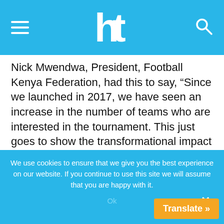ht (logo)
Nick Mwendwa, President, Football Kenya Federation, had this to say, “Since we launched in 2017, we have seen an increase in the number of teams who are interested in the tournament. This just goes to show the transformational impact the tournament has had on the youth of this country.”
The tournament was first launched in 2017 with the aim of giving youth between the ages of 16-20 years a platform to showcase their talent and an
We use cookies to ensure that we give you the best experience on our website. If you continue to use this site we will assume that you are happy with it.
Ok
Translate »